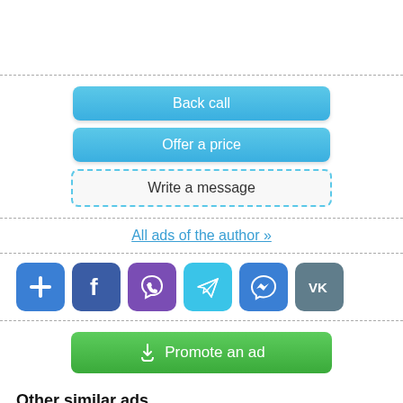[Figure (other): Three action buttons: 'Back call' (blue), 'Offer a price' (blue), 'Write a message' (white dashed border)]
All ads of the author »
[Figure (other): Row of six social/share icon buttons: Add (+), Facebook, Viber, Telegram, Messenger, VK]
[Figure (other): Green 'Promote an ad' button with hand pointer icon]
Other similar ads